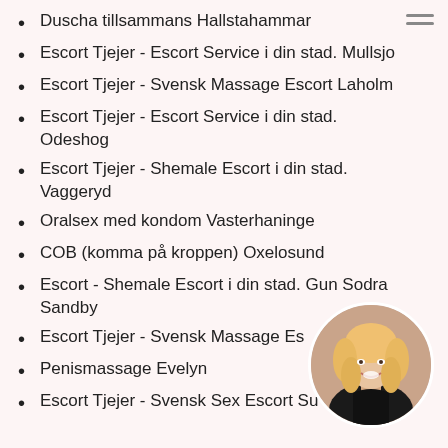Duscha tillsammans Hallstahammar
Escort Tjejer - Escort Service i din stad. Mullsjo
Escort Tjejer - Svensk Massage Escort Laholm
Escort Tjejer - Escort Service i din stad. Odeshog
Escort Tjejer - Shemale Escort i din stad. Vaggeryd
Oralsex med kondom Vasterhaninge
COB (komma på kroppen) Oxelosund
Escort - Shemale Escort i din stad. Gun Sodra Sandby
Escort Tjejer - Svensk Massage Es
Penismassage Evelyn
Escort Tjejer - Svensk Sex Escort Su
[Figure (photo): Circular cropped photo of a blonde woman smiling, wearing dark clothing, positioned at bottom right of page]